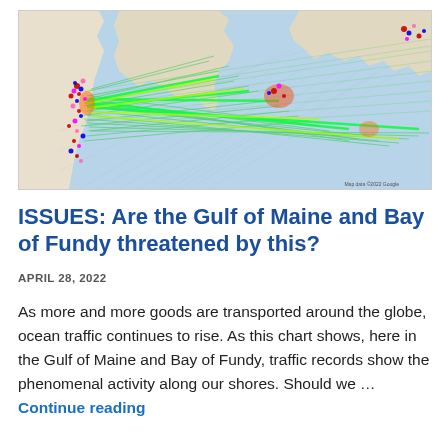[Figure (map): Ship traffic density map of the Gulf of Maine and Bay of Fundy region, showing coastal areas including Portland, ME and Nova Scotia. Dense green and yellow lines indicate high vessel traffic lanes, with clusters of multicolored dots (red, blue, magenta, pink) near ports indicating anchored or moored vessels. Background is light blue (ocean), with land in tan/beige.]
ISSUES: Are the Gulf of Maine and Bay of Fundy threatened by this?
APRIL 28, 2022
As more and more goods are transported around the globe, ocean traffic continues to rise. As this chart shows, here in the Gulf of Maine and Bay of Fundy, traffic records show the phenomenal activity along our shores. Should we … Continue reading